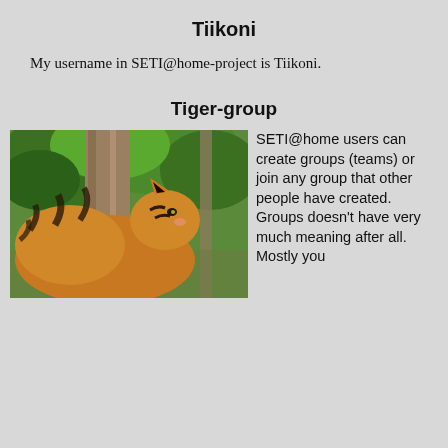Tiikoni
My username in SETI@home-project is Tiikoni.
Tiger-group
[Figure (photo): A tiger sitting near a tree trunk with green foliage in the background, viewed from behind/side showing stripes.]
SETI@home users can create groups (teams) or join any group that other people have created. Groups doesn't have very much meaning after all. Mostly you